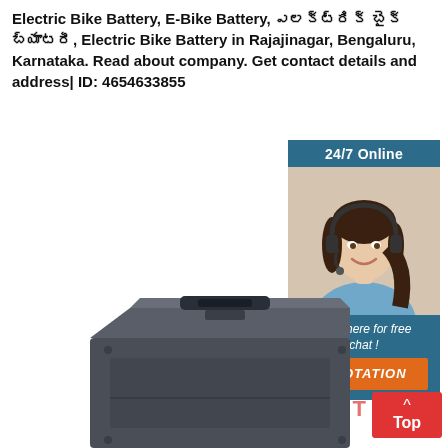Electric Bike Battery, E-Bike Battery, ఎలక్ట్రిక్ బైక్ బ్యాటరీ, Electric Bike Battery in Rajajinagar, Bengaluru, Karnataka. Read about company. Get contact details and address| ID: 4654633855
[Figure (photo): Customer support chat widget with a woman wearing a headset, dark blue background with '24/7 Online' header, 'Click here for free chat!' text, and orange QUOTATION button]
[Figure (photo): Dark grey/black rectangular electric bike battery box viewed from above at an angle, showing handle and latch details]
[Figure (infographic): Red 'Top' button with upward arrow in bottom right corner]